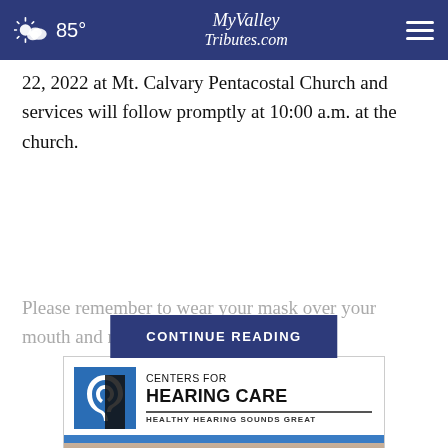85° MyValley Tributes.com
22, 2022 at Mt. Calvary Pentacostal Church and services will follow promptly at 10:00 a.m. at the church.
Please remember to wear your mask over your mouth and nose wher
[Figure (screenshot): CONTINUE READING button overlay in dark navy blue]
[Figure (logo): Centers for Hearing Care advertisement — Healthy Hearing Sounds Great, with blue ear logo icon]